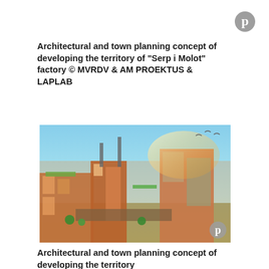[Figure (logo): Pinterest icon (grey P logo) in top right corner]
Architectural and town planning concept of developing the territory of "Serp i Molot" factory © MVRDV & AM PROEKTUS & LAPLAB
[Figure (photo): Aerial perspective rendering of an urban redevelopment project showing mixed-use brick buildings, green rooftops, streets, and modern architecture — architectural visualization of the Serp i Molot factory territory redevelopment]
Architectural and town planning concept of developing the territory